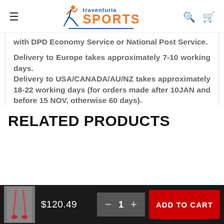traventuria SPORTS
with DPD Economy Service or National Post Service.
Delivery to Europe takes approximately 7-10 working days.
Delivery to USA/CANADA/AU/NZ takes approximately 18-22 working days (for orders made after 10JAN and before 15 NOV, otherwise 60 days).
RELATED PRODUCTS
$120.49
− 1 +
ADD TO CART